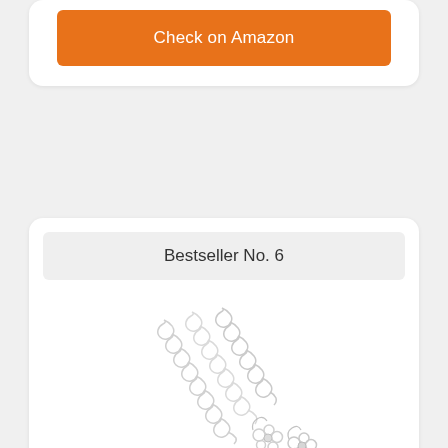Check on Amazon
Bestseller No. 6
[Figure (photo): Silver jewelry set showing necklace chains and earrings laid out on white background]